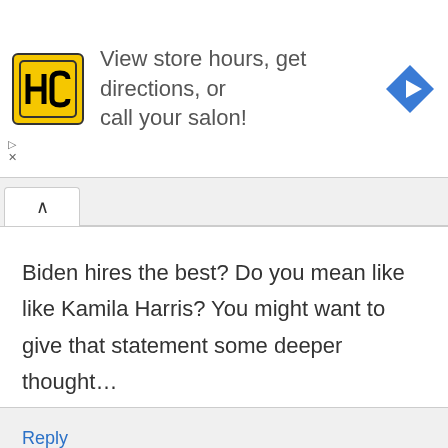[Figure (screenshot): Ad banner for HC Hair salon with yellow HC logo on left, text 'View store hours, get directions, or call your salon!' in center, and blue diamond navigation icon on right. Small play and X controls bottom-left.]
Biden hires the best? Do you mean like like Kamila Harris? You might want to give that statement some deeper thought…
Reply